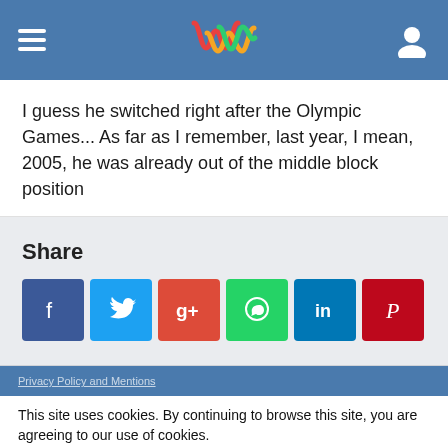[Navigation header with hamburger menu, logo, and user icon]
I guess he switched right after the Olympic Games... As far as I remember, last year, I mean, 2005, he was already out of the middle block position
Share
[Figure (infographic): Social share buttons: Facebook, Twitter, Google+, WhatsApp, LinkedIn, Pinterest]
Privacy Policy and Mentions (footer bar)
This site uses cookies. By continuing to browse this site, you are agreeing to our use of cookies.